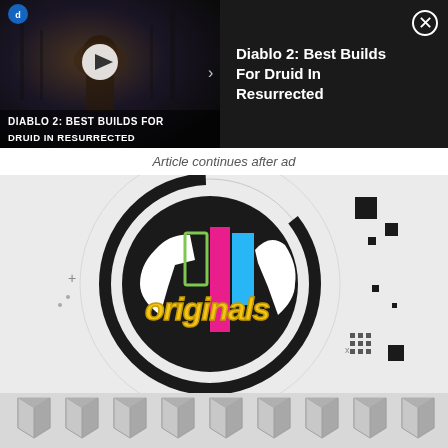[Figure (screenshot): Video ad thumbnail for 'Diablo 2: Best Builds For Druid In Resurrected' showing a character in fur armor in a dark forest scene with a play button overlay]
DIABLO 2: BEST BUILDS FOR DRUID IN RESURRECTED
Diablo 2: Best Builds For Druid In Resurrected
Article continues after ad
[Figure (logo): TikTok Originals logo — circular black disc with geometric colored shapes (green, pink, blue, white) and graffiti-style 'ORIGINALS' text in yellow, surrounded by concentric circle target graphic and scattered black squares on light background]
[Figure (illustration): Bottom geometric pattern with grey cube/hexagon tile pattern]